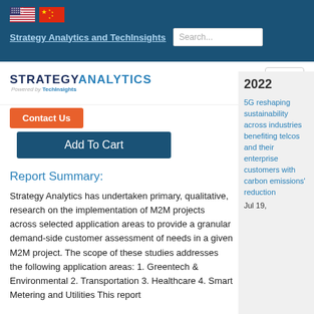Strategy Analytics and TechInsights | Search...
[Figure (logo): Strategy Analytics powered by TechInsights logo with hamburger menu button]
Contact Us
Add To Cart
Report Summary:
Strategy Analytics has undertaken primary, qualitative, research on the implementation of M2M projects across selected application areas to provide a granular demand-side customer assessment of needs in a given M2M project. The scope of these studies addresses the following application areas: 1. Greentech & Environmental 2. Transportation 3. Healthcare 4. Smart Metering and Utilities This report
2022
5G reshaping sustainability across industries benefiting telcos and their enterprise customers with carbon emissions' reduction
Jul 19,